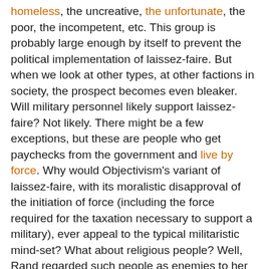homeless, the uncreative, the unfortunate, the poor, the incompetent, etc. This group is probably large enough by itself to prevent the political implementation of laissez-faire. But when we look at other types, at other factions in society, the prospect becomes even bleaker. Will military personnel likely support laissez-faire? Not likely. There might be a few exceptions, but these are people who get paychecks from the government and live by force. Why would Objectivism's variant of laissez-faire, with its moralistic disapproval of the initiation of force (including the force required for the taxation necessary to support a military), ever appeal to the typical militaristic mind-set? What about religious people? Well, Rand regarded such people as enemies to her political ideals (because religion is "irrational"); even if Rand were wrong about why religion people are enemies of her political ideals (the fact that someone is irrational about religion doesn't necessitate that they will be irrational in other spheres of life), she is probably correct about the final result—i.e., the majority of religious people will likely oppose laissez-faire. What about businessmen--entrepreneurs and capitalists? Here is one class in which Objectivists could hope to find allies. But even among businessmen, there will